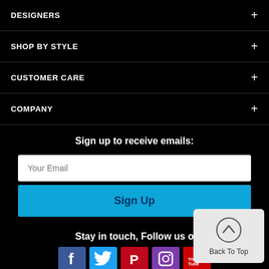DESIGNERS +
SHOP BY STYLE +
CUSTOMER CARE +
COMPANY +
Sign up to receive emails:
Your Email
Sign Up
Stay in touch, Follow us o
[Figure (logo): Social media icons: Facebook, Twitter, Pinterest, Instagram, YouTube]
Back To Top